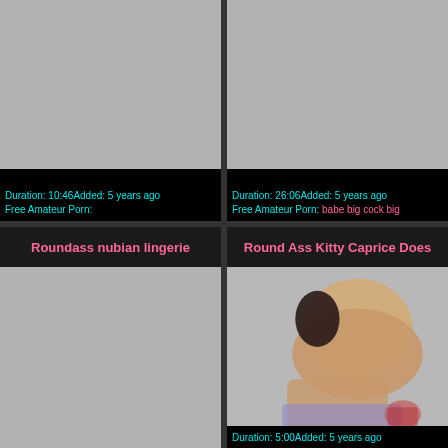[Figure (screenshot): Gray thumbnail placeholder for video]
Duration: 10:46Added: 5 years ago
Free Amateur Porn:
[Figure (screenshot): Gray thumbnail placeholder for video]
Duration: 26:06Added: 5 years ago
Free Amateur Porn: babe big cock big
Roundass nubian lingerie
Round Ass Kitty Caprice Does
[Figure (screenshot): Gray thumbnail placeholder for video]
[Figure (photo): Photo of a person from behind]
Duration: 5:00Added: 5 years ago